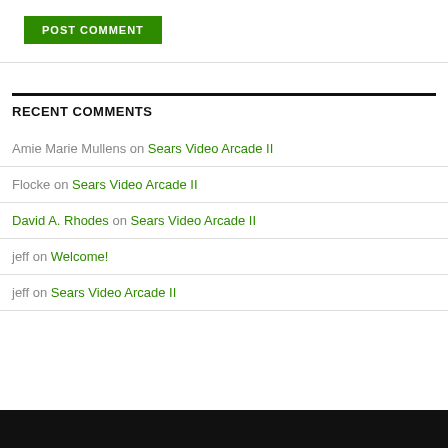POST COMMENT
RECENT COMMENTS
Amie Marie Mullens on Sears Video Arcade II
Flocke on Sears Video Arcade II
David A. Rhodes on Sears Video Arcade II
jeff on Welcome!
jeff on Sears Video Arcade II